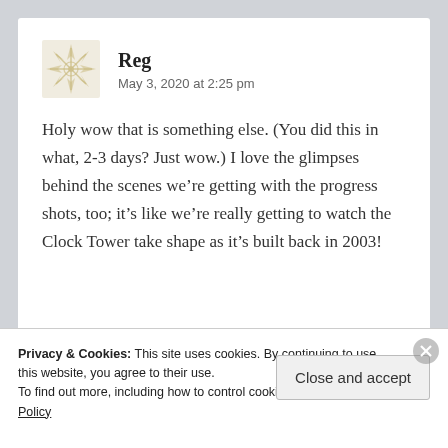Reg
May 3, 2020 at 2:25 pm
Holy wow that is something else. (You did this in what, 2-3 days? Just wow.) I love the glimpses behind the scenes we’re getting with the progress shots, too; it’s like we’re really getting to watch the Clock Tower take shape as it’s built back in 2003!
Privacy & Cookies: This site uses cookies. By continuing to use this website, you agree to their use.
To find out more, including how to control cookies, see here: Cookie Policy
Close and accept